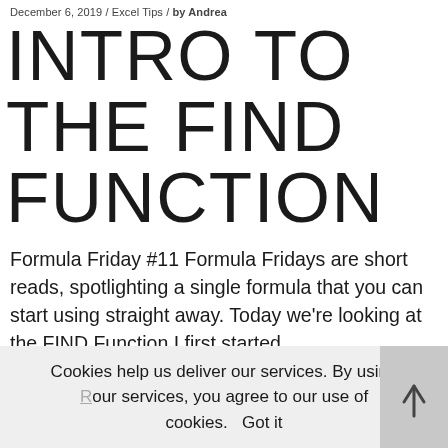December 6, 2019 / Excel Tips / by Andrea
INTRO TO THE FIND FUNCTION
Formula Friday #11 Formula Fridays are short reads, spotlighting a single formula that you can start using straight away. Today we're looking at the FIND Function I first started
Cookies help us deliver our services. By using our services, you agree to our use of cookies. Got it